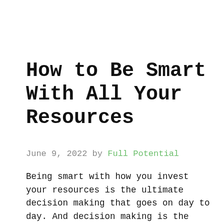How to Be Smart With All Your Resources
June 9, 2022 by Full Potential
Being smart with how you invest your resources is the ultimate decision making that goes on day to day. And decision making is the result of evaluation. And evaluation is the...